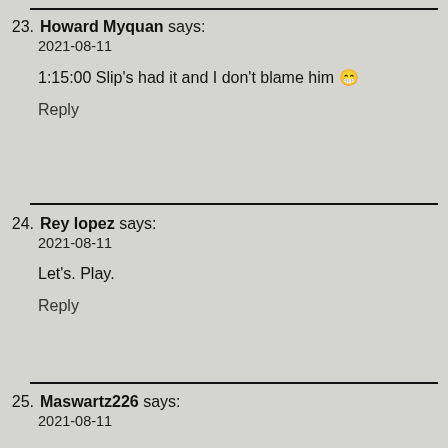23. Howard Myquan says:
2021-08-11
1:15:00 Slip’s had it and I don’t blame him 😁
Reply
24. Rey lopez says:
2021-08-11
Let's. Play.
Reply
25. Maswartz226 says:
2021-08-11